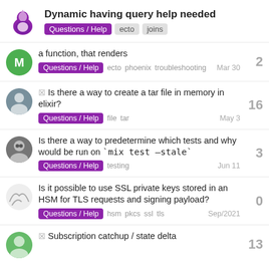Dynamic having query help needed
a function, that renders | Questions / Help  ecto  phoenix  troubleshooting | Mar 30
☑ Is there a way to create a tar file in memory in elixir? | Questions / Help  file  tar | May 3 | 16
Is there a way to predetermine which tests and why would be run on `mix test –stale` | Questions / Help  testing | Jun 11 | 3
Is it possible to use SSL private keys stored in an HSM for TLS requests and signing payload? | Questions / Help  hsm  pkcs  ssl  tls | Sep/2021 | 0
☑ Subscription catchup / state delta | 13